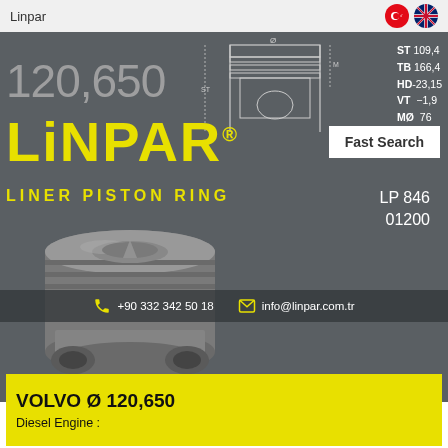Linpar
[Figure (infographic): Linpar Liner Piston Ring product page banner with dark grey background, technical piston drawing top-right, large grey diameter number '120,650', yellow LINPAR® logo, LINER PISTON RING subtitle, LP 846 01200 part number, 3D rendered piston image, contact info, and AP label]
VOLVO Ø 120,650
Diesel Engine :